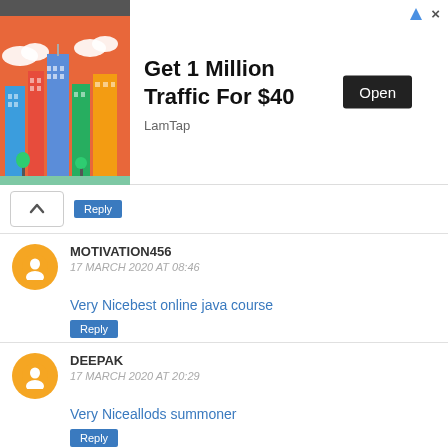[Figure (screenshot): Advertisement banner: colorful city skyline illustration on orange background on left. Text reads 'Get 1 Million Traffic For $40' with 'LamTap' below and an 'Open' button on right.]
Reply
MOTIVATION456
17 MARCH 2020 AT 08:46
Very Nicebest online java course
Reply
DEEPAK
17 MARCH 2020 AT 20:29
Very Niceallods summoner
Reply
DEEPAK
18 MARCH 2020 AT 19:05
Very Nicesql server dba training online free